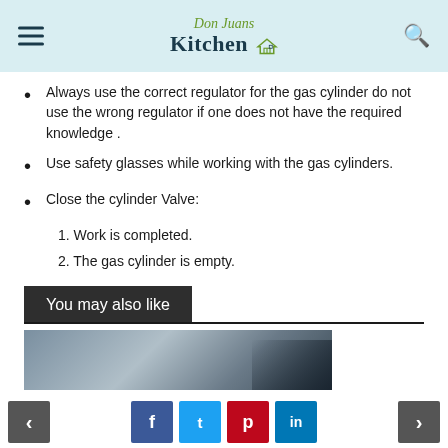Don Juans Kitchen
Always use the correct regulator for the gas cylinder do not use the wrong regulator if one does not have the required knowledge .
Use safety glasses while working with the gas cylinders.
Close the cylinder Valve:
1. Work is completed.
2. The gas cylinder is empty.
You may also like
[Figure (photo): Dark blue-gray background photo, partially visible dark object in bottom-right corner]